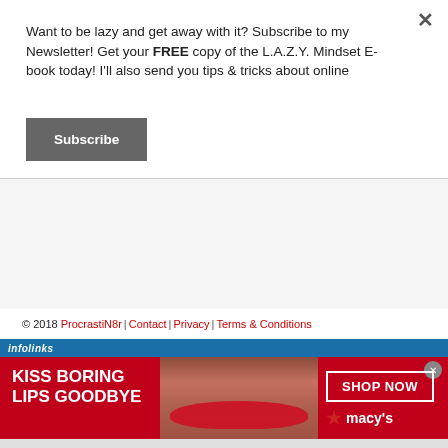Want to be lazy and get away with it? Subscribe to my Newsletter! Get your FREE copy of the L.A.Z.Y. Mindset E-book today! I'll also send you tips & tricks about online
Subscribe
© 2018 ProcrastiN8r | Contact | Privacy | Terms & Conditions
[Figure (advertisement): Infolinks ad banner with 'KISS BORING LIPS GOODBYE' text on red background showing a woman's face, with 'SHOP NOW' button and Macy's branding on the right.]